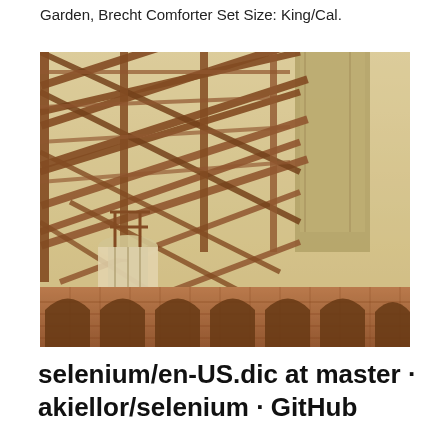Garden, Brecht Comforter Set Size: King/Cal.
[Figure (photo): Low-angle photograph of a large iron/steel bridge or tower structure with a grid of metal beams and cross-bracing, shot from below looking up. The structure has brick arches at the base and a tall concrete or stone pillar. The image has a warm sepia/vintage tone. Appears to be Fort Point or a similar historic structure beneath the Golden Gate Bridge.]
selenium/en-US.dic at master · akiellor/selenium · GitHub